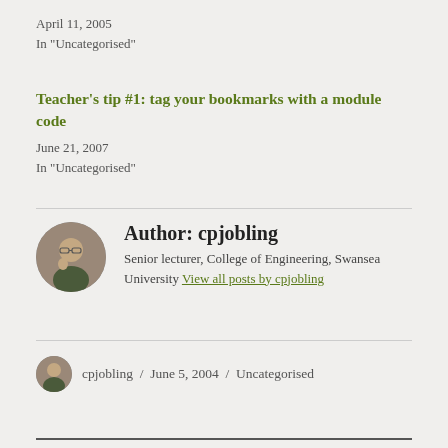April 11, 2005
In "Uncategorised"
Teacher's tip #1: tag your bookmarks with a module code
June 21, 2007
In "Uncategorised"
Author: cpjobling
Senior lecturer, College of Engineering, Swansea University View all posts by cpjobling
cpjobling / June 5, 2004 / Uncategorised